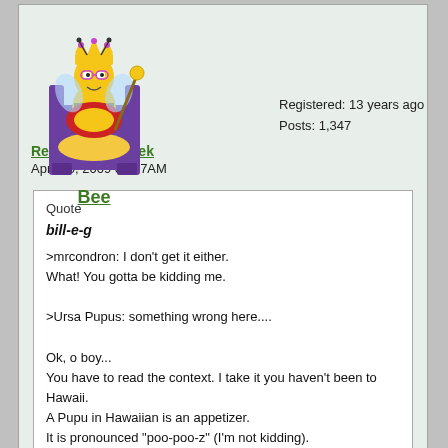[Figure (illustration): Cartoon bee character dressed as royalty sitting on a throne, wearing a crown and holding a scepter]
Bee
Registered: 13 years ago
Posts: 1,347
Re: Cabin for eeek
April 20, 2009 07:47AM
Quote
bill-e-g
>mrcondron: I don't get it either.
What! You gotta be kidding me.

>Ursa Pupus: something wrong here....

Ok, o boy...
You have to read the context. I take it you haven't been to Hawaii.
A Pupu in Hawaiian is an appetizer.
It is pronounced "poo-poo-z" (I'm not kidding).
Ursa is bear.

ok, now start ROFL or ROFLMAO (as eeek would say)